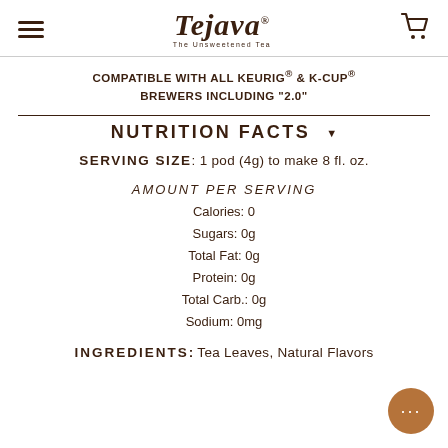Tejava — The Unsweetened Tea (logo with hamburger menu and cart icon)
COMPATIBLE WITH ALL KEURIG® & K-CUP® BREWERS INCLUDING "2.0"
NUTRITION FACTS
SERVING SIZE: 1 pod (4g) to make 8 fl. oz.
AMOUNT PER SERVING
Calories: 0
Sugars: 0g
Total Fat: 0g
Protein: 0g
Total Carb.: 0g
Sodium: 0mg
INGREDIENTS: Tea Leaves, Natural Flavors